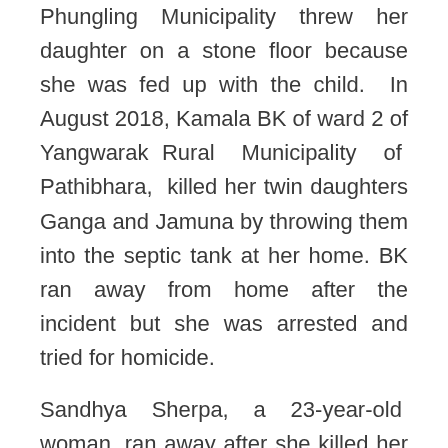Phungling Municipality threw her daughter on a stone floor because she was fed up with the child. In August 2018, Kamala BK of ward 2 of Yangwarak Rural Municipality of Pathibhara, killed her twin daughters Ganga and Jamuna by throwing them into the septic tank at her home. BK ran away from home after the incident but she was arrested and tried for homicide.
Sandhya Sherpa, a 23-year-old woman, ran away after she killed her own child on Sept 9, 2017. A similar incident